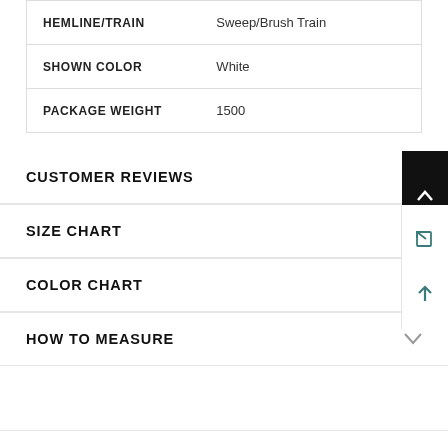| Attribute | Value |
| --- | --- |
| HEMLINE/TRAIN | Sweep/Brush Train |
| SHOWN COLOR | White |
| PACKAGE WEIGHT | 1500 |
CUSTOMER REVIEWS
SIZE CHART
COLOR CHART
HOW TO MEASURE
RELATED PRODUCTS